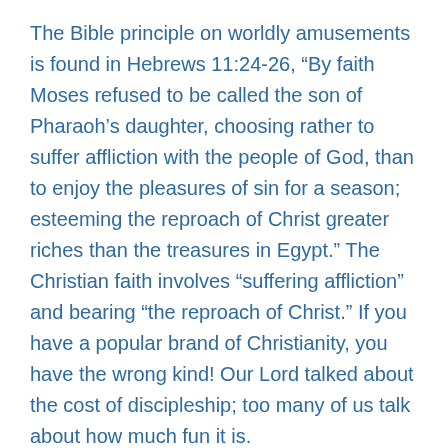The Bible principle on worldly amusements is found in Hebrews 11:24-26, “By faith Moses refused to be called the son of Pharaoh’s daughter, choosing rather to suffer affliction with the people of God, than to enjoy the pleasures of sin for a season; esteeming the reproach of Christ greater riches than the treasures in Egypt.” The Christian faith involves “suffering affliction” and bearing “the reproach of Christ.” If you have a popular brand of Christianity, you have the wrong kind! Our Lord talked about the cost of discipleship; too many of us talk about how much fun it is.
Within the soul of every person there is an